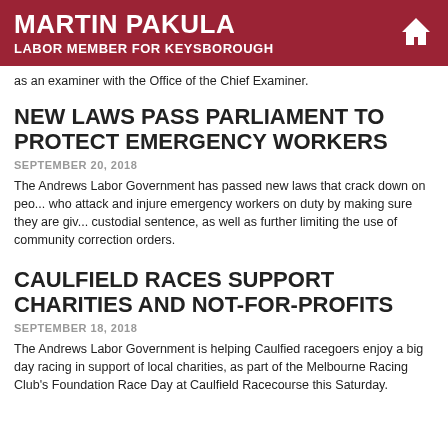MARTIN PAKULA LABOR MEMBER FOR KEYSBOROUGH
as an examiner with the Office of the Chief Examiner.
NEW LAWS PASS PARLIAMENT TO PROTECT EMERGENCY WORKERS
SEPTEMBER 20, 2018
The Andrews Labor Government has passed new laws that crack down on people who attack and injure emergency workers on duty by making sure they are given a custodial sentence, as well as further limiting the use of community correction orders.
CAULFIELD RACES SUPPORT CHARITIES AND NOT-FOR-PROFITS
SEPTEMBER 18, 2018
The Andrews Labor Government is helping Caulfied racegoers enjoy a big day of racing in support of local charities, as part of the Melbourne Racing Club's Foundation Race Day at Caulfield Racecourse this Saturday.